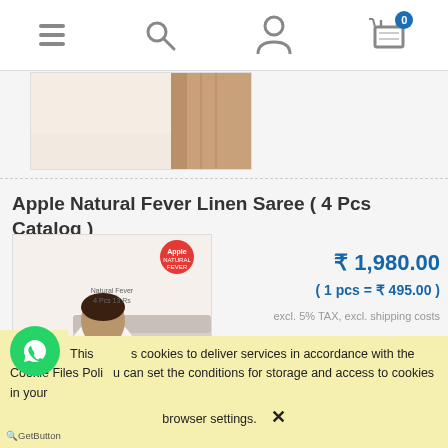[Figure (screenshot): Mobile e-commerce navigation bar with hamburger menu, search, user profile, and shopping cart icons]
Apple Natural Fever Linen Saree ( 4 Pcs Catalog )
[Figure (photo): Product photo of Apple Natural Fever Linen Saree - a woman wearing a white and salmon/pink bordered saree]
₹ 1,980.00
( 1 pcs = ₹ 495.00 )
excl. 5% TAX, excl. shipping costs
notify of product availability
This site uses cookies to deliver services in accordance with the Cookie Files Policy. You can set the conditions for storage and access to cookies in your browser settings.